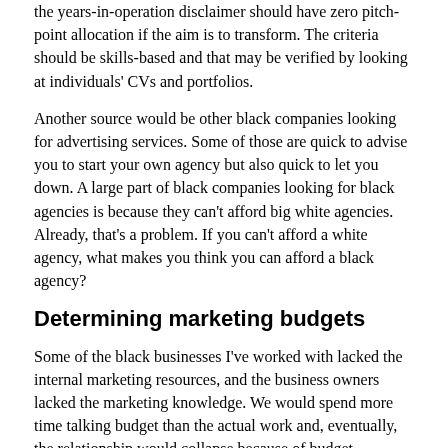the years-in-operation disclaimer should have zero pitch-point allocation if the aim is to transform. The criteria should be skills-based and that may be verified by looking at individuals' CVs and portfolios.
Another source would be other black companies looking for advertising services. Some of those are quick to advise you to start your own agency but also quick to let you down. A large part of black companies looking for black agencies is because they can't afford big white agencies. Already, that's a problem. If you can't afford a white agency, what makes you think you can afford a black agency?
Determining marketing budgets
Some of the black businesses I've worked with lacked the internal marketing resources, and the business owners lacked the marketing knowledge. We would spend more time talking budget than the actual work and, eventually, the relationship would collapse because of budget.
When you ask for a marketing budget, they would tell you to present a campaign with a budget proposal. But that's not how you determine a marketing budget. The marketing budget should be a percentage of your gross revenue or projected gross revenue, while also factoring in your